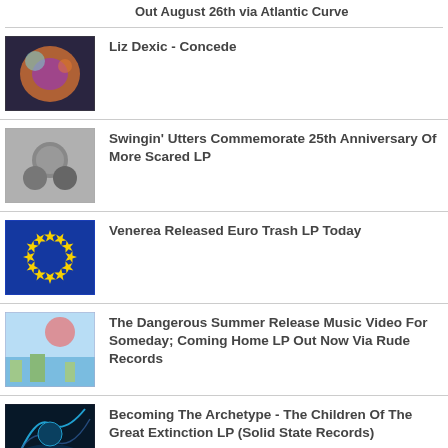Out August 26th via Atlantic Curve
Liz Dexic - Concede
Swingin' Utters Commemorate 25th Anniversary Of More Scared LP
Venerea Released Euro Trash LP Today
The Dangerous Summer Release Music Video For Someday; Coming Home LP Out Now Via Rude Records
Becoming The Archetype - The Children Of The Great Extinction LP (Solid State Records)
Rest Easy Release Video For The Hill; Hope You're Okay LP Out October 28th Via Mutant League Records